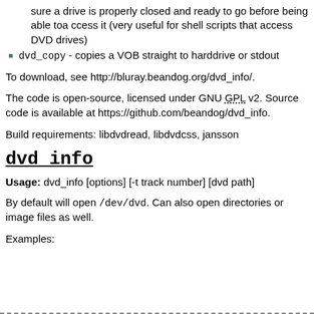sure a drive is properly closed and ready to go before being able toa ccess it (very useful for shell scripts that access DVD drives)
dvd_copy - copies a VOB straight to harddrive or stdout
To download, see http://bluray.beandog.org/dvd_info/.
The code is open-source, licensed under GNU GPL v2. Source code is available at https://github.com/beandog/dvd_info.
Build requirements: libdvdread, libdvdcss, jansson
dvd_info
Usage: dvd_info [options] [-t track number] [dvd path]
By default will open /dev/dvd. Can also open directories or image files as well.
Examples: